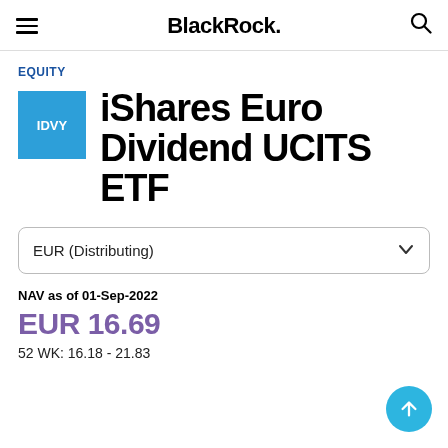BlackRrock.
EQUITY
iShares Euro Dividend UCITS ETF
EUR (Distributing)
NAV as of 01-Sep-2022
EUR 16.69
52 WK: 16.18 - 21.83